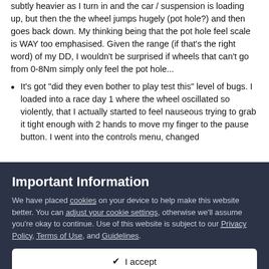subtly heavier as I turn in and the car / suspension is loading up, but then the the wheel jumps hugely (pot hole?) and then goes back down.  My thinking being that the pot hole feel scale is WAY too emphasised. Given the range (if that's the right word) of my DD, I wouldn't be surprised if wheels that can't go from 0-8Nm simply only feel the pot hole...
It's got "did they even bother to play test this" level of bugs.  I loaded into a race day 1 where the wheel oscillated so violently, that I actually started to feel nauseous trying to grab it tight enough with 2 hands to move my finger to the pause button.  I went into the controls menu, changed
Important Information
We have placed cookies on your device to help make this website better. You can adjust your cookie settings, otherwise we'll assume you're okay to continue. Use of this website is subject to our Privacy Policy, Terms of Use, and Guidelines.
✔ I accept